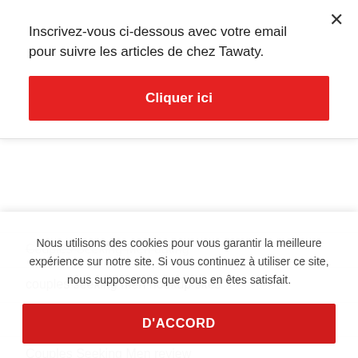Inscrivez-vous ci-dessous avec votre email pour suivre les articles de chez Tawaty.
Cliquer ici
Couples Seeking Men dating
couples seeking men hookup sites
couples seeking men hookuphotties dating
Couples Seeking Men review
Couples Seeking Men reviews
Nous utilisons des cookies pour vous garantir la meilleure expérience sur notre site. Si vous continuez à utiliser ce site, nous supposerons que vous en êtes satisfait.
D'ACCORD